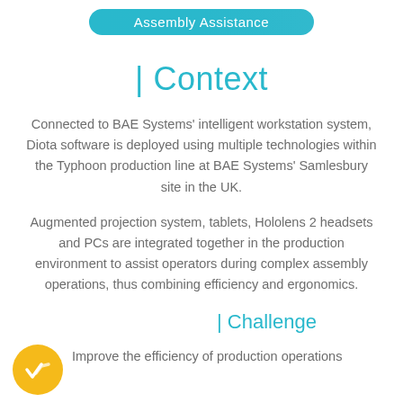Assembly Assistance
| Context
Connected to BAE Systems' intelligent workstation system, Diota software is deployed using multiple technologies within the Typhoon production line at BAE Systems' Samlesbury site in the UK.
Augmented projection system, tablets, Hololens 2 headsets and PCs are integrated together in the production environment to assist operators during complex assembly operations, thus combining efficiency and ergonomics.
| Challenge
Improve the efficiency of production operations